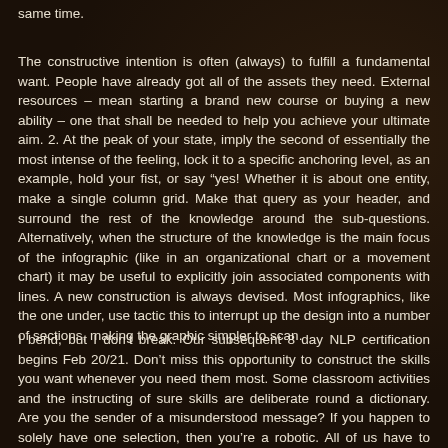same time.
The constructive intention is often (always) to fulfill a fundamental want. People have already got all of the assets they need. External resources – mean starting a brand new course or buying a new ability – one that shall be needed to help you achieve your ultimate aim. 2. At the peak of your state, imply the second of essentially the most intense of the feeling, lock it to a specific anchoring level, as an example, hold your fist, or say “yes! Whether it is about one entity, make a single column grid. Make that query as your header, and surround the rest of the knowledge around the sub-questions. Alternatively, when the structure of the knowledge is the main focus of the infographic (like in an organizational chart or a movement chart) it may be useful to explicitly join associated components with lines. A new construction is always devised. Most infographics, like the one under, use tactic this to interrupt up the design into a number of sections, making the graphic simpler to scan.
I bend, but I don’t break. Our subsequent 8 day NLP certification begins Feb 20/21. Don’t miss this opportunity to construct the skills you want whenever you need them most. Some classroom activities and the instructing of sure skills are deliberate round a dictionary. Are you the sender of a misunderstood message? If you happen to solely have one selection, then you’re a robotic. All of us have to have cooperation to